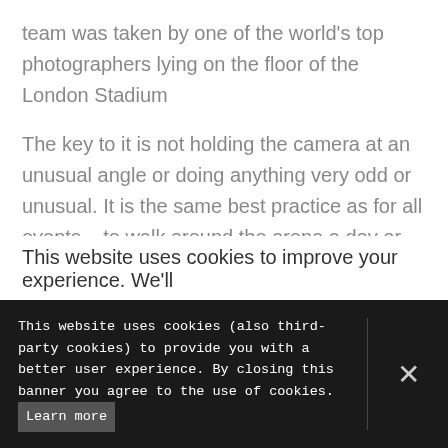team was taken by one of the world's top photographers lying on the floor of the London Stadium
The key to it is not holding the camera at an unusual angle or doing anything very odd or unusual. It is the same best practice as for all events – to walk around the arena a day or hours before or during the event, visualising what will happen with the photographs in mind – looking for a different angle.
The head-on shot is the classic in the athletics
This website uses cookies to improve your experience. We'll
This website uses cookies (also third-party cookies) to provide you with a better user experience. By closing this banner you agree to the use of cookies. Learn more